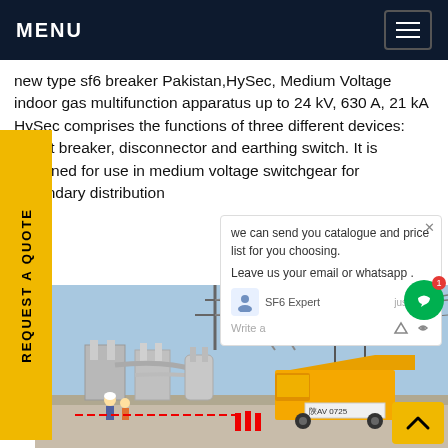MENU
new type sf6 breaker Pakistan,HySec, Medium Voltage indoor gas multifunction apparatus up to 24 kV, 630 A, 21 kA HySec comprises the functions of three different devices: circuit breaker, disconnector and earthing switch. It is designed for use in medium voltage switchgear for secondary distribution
[Figure (photo): Electrical substation with SF6 gas insulated equipment, transformers, high voltage lines, workers on site, and a yellow truck with license plate 陕AV 0725 in the foreground]
we can send you catalogue and price list for you choosing.
Leave us your email or whatsapp .